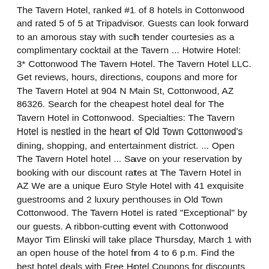The Tavern Hotel, ranked #1 of 8 hotels in Cottonwood and rated 5 of 5 at Tripadvisor. Guests can look forward to an amorous stay with such tender courtesies as a complimentary cocktail at the Tavern ... Hotwire Hotel: 3* Cottonwood The Tavern Hotel. The Tavern Hotel LLC. Get reviews, hours, directions, coupons and more for The Tavern Hotel at 904 N Main St, Cottonwood, AZ 86326. Search for the cheapest hotel deal for The Tavern Hotel in Cottonwood. Specialties: The Tavern Hotel is nestled in the heart of Old Town Cottonwood's dining, shopping, and entertainment district. ... Open The Tavern Hotel hotel ... Save on your reservation by booking with our discount rates at The Tavern Hotel in AZ We are a unique Euro Style Hotel with 41 exquisite guestrooms and 2 luxury penthouses in Old Town Cottonwood. The Tavern Hotel is rated "Exceptional" by our guests. A ribbon-cutting event with Cottonwood Mayor Tim Elinski will take place Thursday, March 1 with an open house of the hotel from 4 to 6 p.m. Find the best hotel deals with Free Hotel Coupons for discounts across Cottonwood, AZ. The nearest airport is Flagstaff Pulliam Airport, 46 miles from The Tavern Hotel. Room. Find discount 2020-21 Boyd Vance Theater at George Washington Carver Museum Tickets at Capital City Tickets